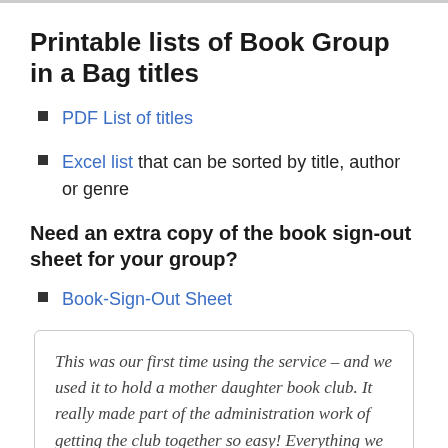Printable lists of Book Group in a Bag titles
PDF List of titles
Excel list that can be sorted by title, author or genre
Need an extra copy of the book sign-out sheet for your group?
Book-Sign-Out Sheet
This was our first time using the service – and we used it to hold a mother daughter book club. It really made part of the administration work of getting the club together so easy! Everything we